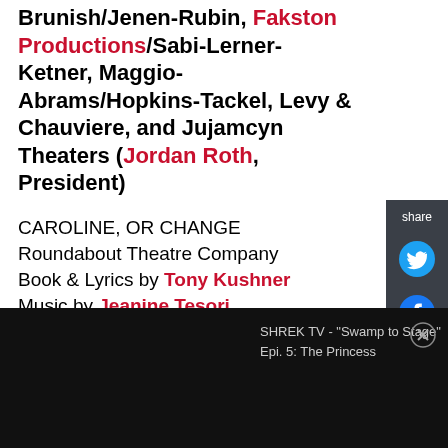Brunish/Jenen-Rubin, Fakston Productions/Sabi-Lerner-Ketner, Maggio-Abrams/Hopkins-Tackel, Levy & Chauviere, and Jujamcyn Theaters (Jordan Roth, President)
CAROLINE, OR CHANGE
Roundabout Theatre Company
Book & Lyrics by Tony Kushner
Music by Jeanine Tesori
Directed by Michael Longhurst
Produced by Produced by Roundabout Theatre Company (Todd Haimes: Artistic Director/CEO; Julia C. Levy: Executive Director; Sydney Beers: Executive Producer; Steve Dow: Chief
SHREK TV - "Swamp to Stage"
Epi. 5: The Princess